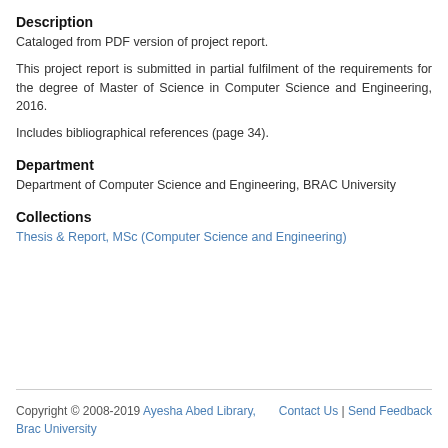Description
Cataloged from PDF version of project report.
This project report is submitted in partial fulfilment of the requirements for the degree of Master of Science in Computer Science and Engineering, 2016.
Includes bibliographical references (page 34).
Department
Department of Computer Science and Engineering, BRAC University
Collections
Thesis & Report, MSc (Computer Science and Engineering)
Copyright © 2008-2019 Ayesha Abed Library, Brac University | Contact Us | Send Feedback